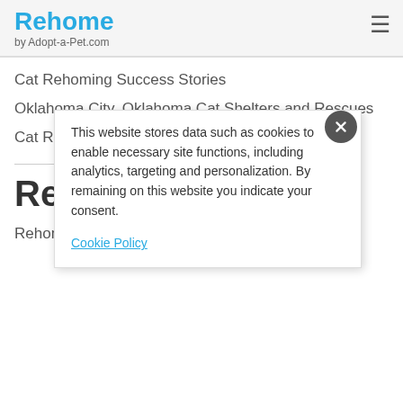Rehome by Adopt-a-Pet.com
Cat Rehoming Success Stories
Oklahoma City, Oklahoma Cat Shelters and Rescues
Cat Rehoming...
Rehome
Rehome is the safe, reliable, and free way to
This website stores data such as cookies to enable necessary site functions, including analytics, targeting and personalization. By remaining on this website you indicate your consent.
Cookie Policy